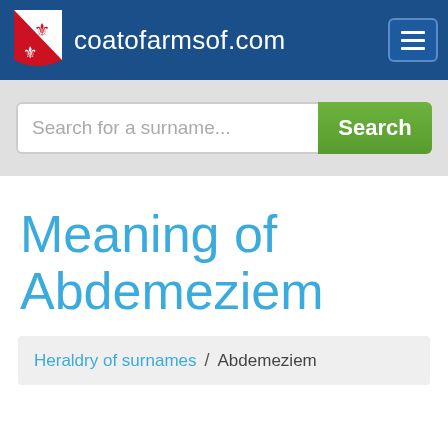coatofarmsof.com
[Figure (screenshot): Search bar with placeholder 'Search for a surname...' and green Search button]
Meaning of Abdemeziem
Heraldry of surnames / Abdemeziem